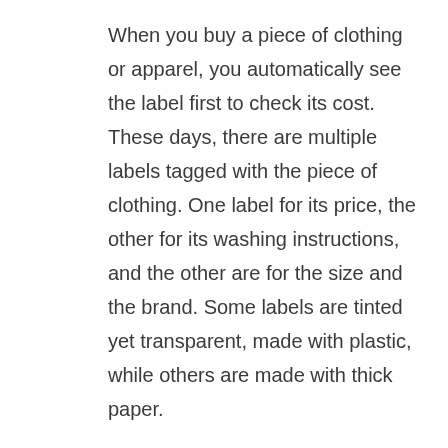When you buy a piece of clothing or apparel, you automatically see the label first to check its cost. These days, there are multiple labels tagged with the piece of clothing. One label for its price, the other for its washing instructions, and the other are for the size and the brand. Some labels are tinted yet transparent, made with plastic, while others are made with thick paper.
This mockup gives you an insight on how you can design a label tag. The design of this mockup is impressive with a pink color based background. You can tie a string to its punched end so that the other end of the string can be tied to the clothing. The mockup is designed...